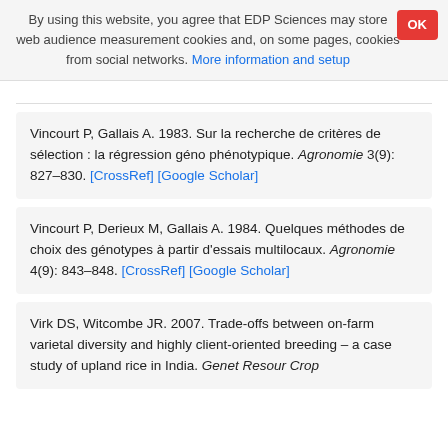By using this website, you agree that EDP Sciences may store web audience measurement cookies and, on some pages, cookies from social networks. More information and setup
Vincourt P, Gallais A. 1983. Sur la recherche de critères de sélection : la régression géno phénotypique. Agronomie 3(9): 827–830. [CrossRef] [Google Scholar]
Vincourt P, Derieux M, Gallais A. 1984. Quelques méthodes de choix des génotypes à partir d'essais multilocaux. Agronomie 4(9): 843–848. [CrossRef] [Google Scholar]
Virk DS, Witcombe JR. 2007. Trade-offs between on-farm varietal diversity and highly client-oriented breeding – a case study of upland rice in India. Genet Resour Crop